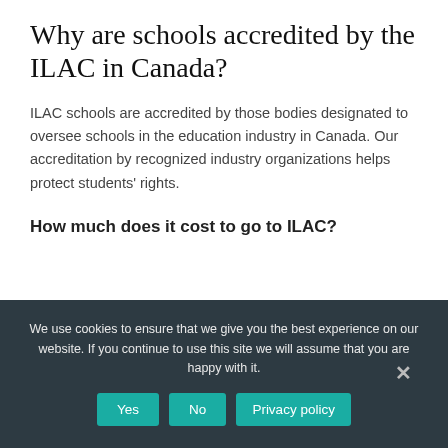Why are schools accredited by the ILAC in Canada?
ILAC schools are accredited by those bodies designated to oversee schools in the education industry in Canada. Our accreditation by recognized industry organizations helps protect students' rights.
How much does it cost to go to ILAC?
We use cookies to ensure that we give you the best experience on our website. If you continue to use this site we will assume that you are happy with it.